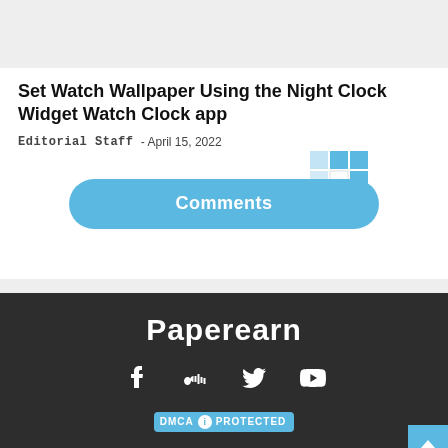[Figure (screenshot): Gray placeholder image area at top of page]
Set Watch Wallpaper Using the Night Clock Widget Watch Clock app
Editorial Staff - April 15, 2022
[Figure (other): Share icon grid overlay (blue pixel squares pattern)]
Comments
Paperearn - social icons (Facebook, SoundCloud, Twitter, YouTube) - DMCA PROTECTED